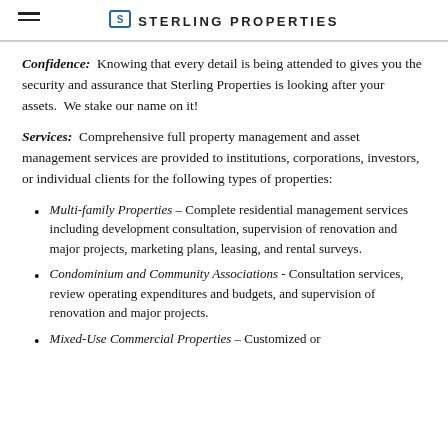STERLING PROPERTIES
Confidence: Knowing that every detail is being attended to gives you the security and assurance that Sterling Properties is looking after your assets. We stake our name on it!
Services: Comprehensive full property management and asset management services are provided to institutions, corporations, investors, or individual clients for the following types of properties:
Multi-family Properties – Complete residential management services including development consultation, supervision of renovation and major projects, marketing plans, leasing, and rental surveys.
Condominium and Community Associations - Consultation services, review operating expenditures and budgets, and supervision of renovation and major projects.
Mixed-Use Commercial Properties – Customized or